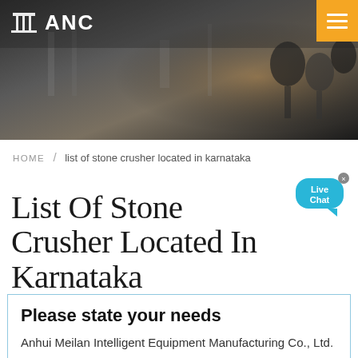[Figure (photo): Dark industrial/factory interior header banner with ANC logo on left and orange hamburger menu button on top right]
ANC
HOME / list of stone crusher located in karnataka
List Of Stone Crusher Located In Karnataka
Please state your needs
Anhui Meilan Intelligent Equipment Manufacturing Co., Ltd. warmly welcome all walks of life to contact us, we are waiting for your inquiry all day!